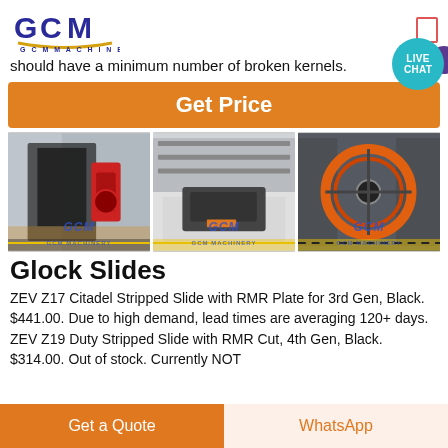[Figure (logo): GCM Machinery logo with stylized GCM letters in blue/purple and gold underline, text GCM MACHINERY below]
should have a minimum number of broken kernels.
[Figure (other): Live Chat bubble icon in teal with purple speech bubble]
Get Price
[Figure (photo): Three photos of GCM machinery equipment in industrial factory settings, each with GCM watermark]
Glock Slides
ZEV Z17 Citadel Stripped Slide with RMR Plate for 3rd Gen, Black. $441.00. Due to high demand, lead times are averaging 120+ days. ZEV Z19 Duty Stripped Slide with RMR Cut, 4th Gen, Black. $314.00. Out of stock. Currently NOT
Get a Quote
WhatsApp